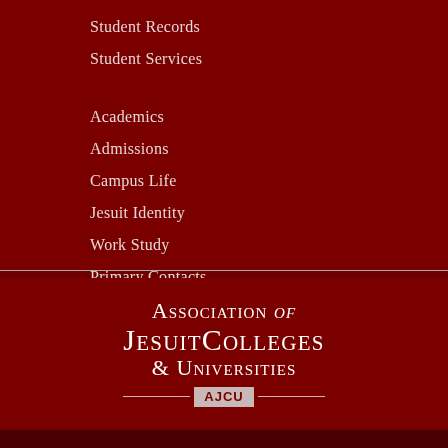Student Records
Student Services
Academics
Admissions
Campus Life
Jesuit Identity
Work Study
Primary Contacts
[Figure (logo): Association of Jesuit Colleges & Universities (AJCU) logo in white text on dark red background]